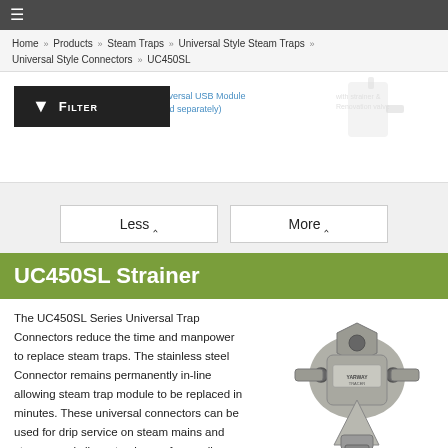≡
Home » Products » Steam Traps » Universal Style Steam Traps » Universal Style Connectors » UC450SL
[Figure (screenshot): Partial product image in upper right, faded; Universal USB Module (sold separately) label in blue; Filter button in black on left]
Less ∧    More ∨
UC450SL Strainer
The UC450SL Series Universal Trap Connectors reduce the time and manpower to replace steam traps. The stainless steel Connector remains permanently in-line allowing steam trap module to be replaced in minutes. These universal connectors can be used for drip service on steam mains and steam supply lines, tracing, or for small process equipment. Industrial standard 2 bolt universal connectors are
[Figure (photo): Photo of UC450SL strainer connector, a metallic Y-strainer with bolt holes and fittings]